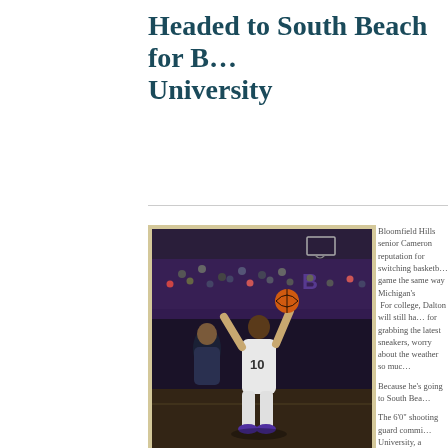Headed to South Beach for B... University
[Figure (photo): Basketball player wearing number 10 in white uniform driving to the basket in a crowded gymnasium with purple gym colors, against a defender in dark uniform, crowd visible in background]
Bloomfield Hills senior Cameron... reputation for switching basketb... game the same way Michigan's...  For college, Dalton will still ha... for grabbing the latest sneakers, worry about the weather so muc...
Because he's going to South Bea...
The 6'0" shooting guard commi... University, a Division II school Shores, Florida.  Dalton average game last season.
“I didn’t really have a lot of scho...